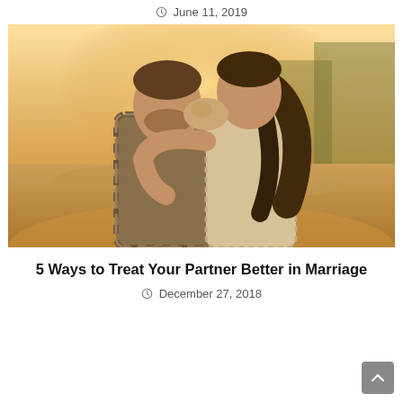June 11, 2019
[Figure (photo): A couple kissing and embracing outdoors in warm golden light near a lake, man in plaid shirt, woman in knit sweater with long dark hair]
5 Ways to Treat Your Partner Better in Marriage
December 27, 2018